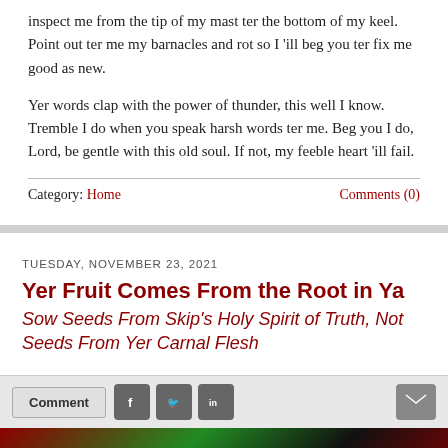inspect me from the tip of my mast ter the bottom of my keel. Point out ter me my barnacles and rot so I 'ill beg you ter fix me good as new.
Yer words clap with the power of thunder, this well I know. Tremble I do when you speak harsh words ter me. Beg you I do, Lord, be gentle with this old soul. If not, my feeble heart 'ill fail.
Category: Home    Comments (0)
TUESDAY, NOVEMBER 23, 2021
Yer Fruit Comes From the Root in Ya
Sow Seeds From Skip's Holy Spirit of Truth, Not Seeds From Yer Carnal Flesh
[Figure (other): Social sharing bar with Comment button, Facebook, Twitter, LinkedIn icons and email icon]
[Figure (photo): Partial image of what appears to be a dark red and green circular object, possibly a fruit or decorative item]